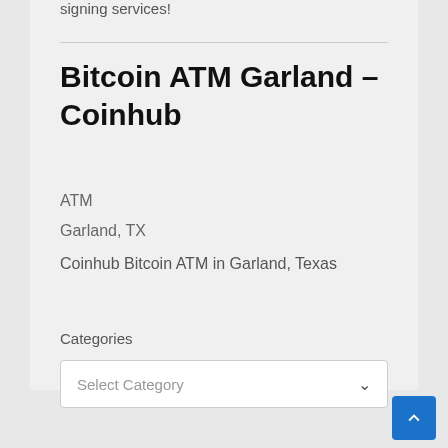signing services!
Bitcoin ATM Garland – Coinhub
ATM
Garland, TX
Coinhub Bitcoin ATM in Garland, Texas
Categories
Select Category